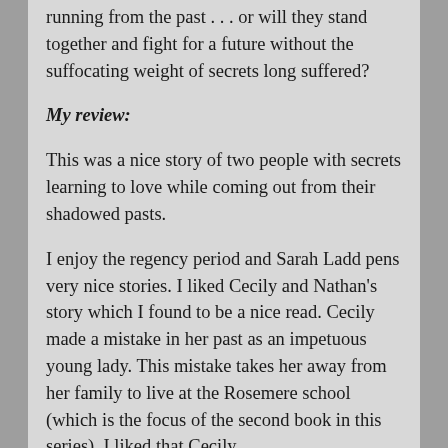running from the past . . . or will they stand together and fight for a future without the suffocating weight of secrets long suffered?
My review:
This was a nice story of two people with secrets learning to love while coming out from their shadowed pasts.
I enjoy the regency period and Sarah Ladd pens very nice stories. I liked Cecily and Nathan's story which I found to be a nice read. Cecily made a mistake in her past as an impetuous young lady. This mistake takes her away from her family to live at the Rosemere school (which is the focus of the second book in this series). I liked that Cecily